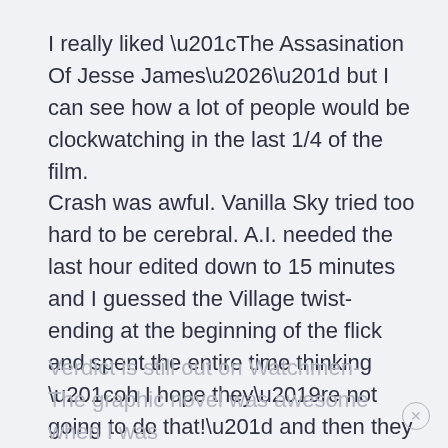I really liked “The Assasination Of Jesse James…” but I can see how a lot of people would be clockwatching in the last 1/4 of the film.
Crash was awful. Vanilla Sky tried too hard to be cerebral. A.I. needed the last hour edited down to 15 minutes and I guessed the Village twist-ending at the beginning of the flick and spent the entire time thinking “oh I hope they’re not going to do that!” and then they did.
Verdict is still out on Watchmen- The graphic novel was awesome when I was